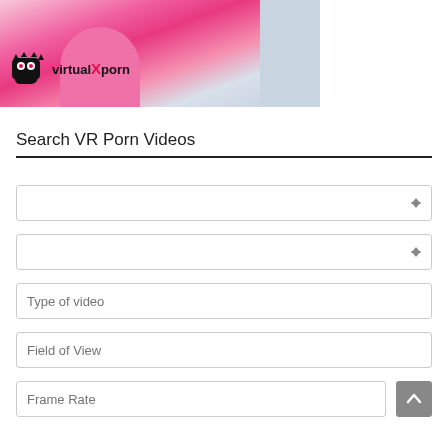[Figure (photo): Hero image of a person in a pink sports top with VirtualXPorn logo overlay]
Search VR Porn Videos
Dropdown select field 1 (with spinner arrows)
Dropdown select field 2 (with spinner arrows)
Type of video (text input placeholder)
Field of View (text input placeholder)
Frame Rate (text input placeholder)